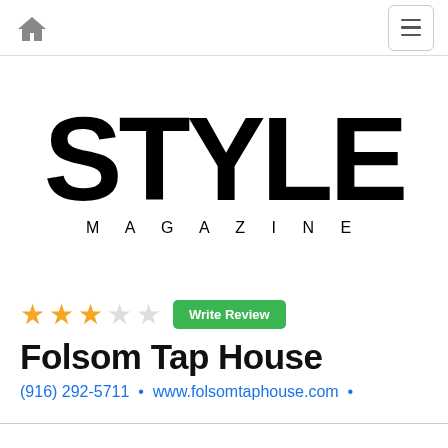Home | Menu navigation bar
[Figure (logo): STYLE MAGAZINE logo in large black bold letters with STYLE in large font and MAGAZINE in spaced small caps below]
[Figure (infographic): 3 filled gold stars and 2 empty stars rating with Write Review green button]
Folsom Tap House
(916) 292-5711 • www.folsomtaphouse.com •